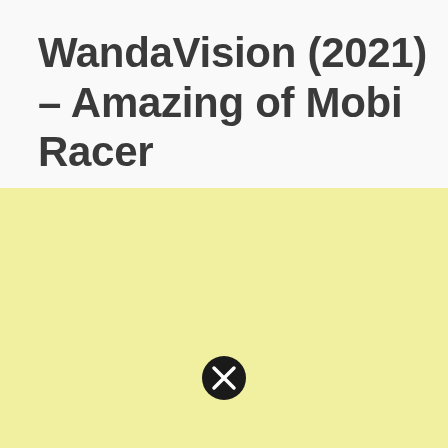WandaVision (2021) – Amazing of Mobi Racer
[Figure (other): Yellow/cream colored background area with a black circle close/dismiss button (X icon) in the center-lower area, representing an advertisement or overlay panel.]